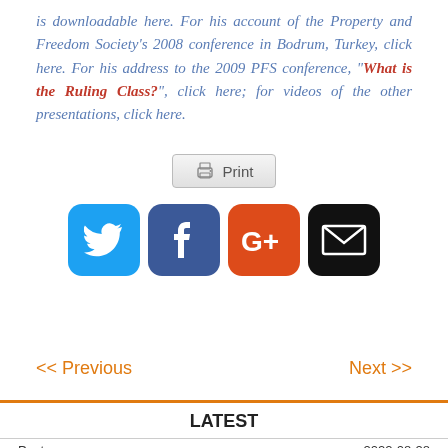is downloadable here. For his account of the Property and Freedom Society's 2008 conference in Bodrum, Turkey, click here. For his address to the 2009 PFS conference, "What is the Ruling Class?", click here; for videos of the other presentations, click here.
[Figure (other): Print button with printer icon]
[Figure (other): Social sharing icons: Twitter (blue bird), Facebook (blue f), Google+ (orange G+), Email (black envelope)]
<< Previous
Next >>
LATEST
Post:                                                   2022-08-28